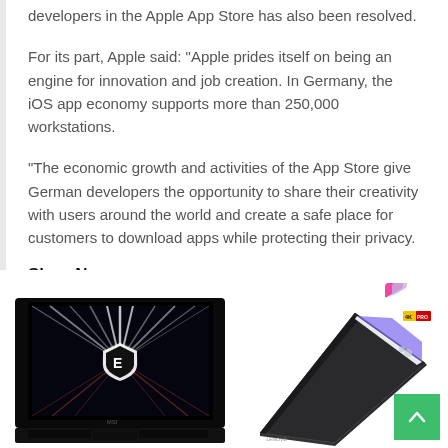developers in the Apple App Store has also been resolved.
For its part, Apple said: “Apple prides itself on being an engine for innovation and job creation. In Germany, the iOS app economy supports more than 250,000 workstations.
“The economic growth and activities of the App Store give German developers the opportunity to share their creativity with users around the world and create a safe place for customers to download apps while protecting their privacy.
Shop Now
[Figure (photo): Gaming laptop (MSI Stealth) with dark background and illuminated keyboard, viewed from front with screen showing light ray design and MSI shield logo]
[Figure (photo): 2-in-1 laptop/tablet in tent mode showing a colorful UI with app icons and product images on screen, with 4K label visible]